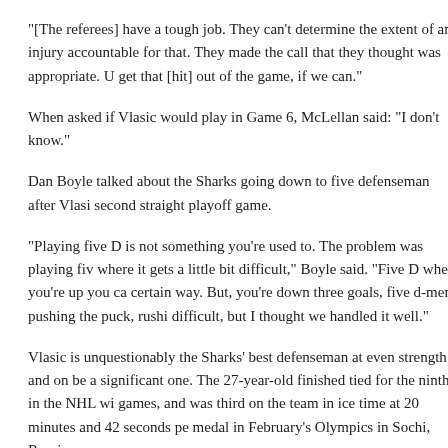"[The referees] have a tough job. They can't determine the extent of an injury accountable for that. They made the call that they thought was appropriate. U get that [hit] out of the game, if we can."
When asked if Vlasic would play in Game 6, McLellan said: "I don't know."
Dan Boyle talked about the Sharks going down to five defenseman after Vlas second straight playoff game.
“Playing five D is not something you’re used to. The problem was playing fiv where it gets a little bit difficult,” Boyle said. "Five D when you’re up you ca certain way. But, you’re down three goals, five d-men pushing the puck, rushi difficult, but I thought we handled it well.”
Vlasic is unquestionably the Sharks’ best defenseman at even strength and on be a significant one. The 27-year-old finished tied for the ninth in the NHL w games, and was third on the team in ice time at 20 minutes and 42 seconds pe medal in February’s Olympics in Sochi, Russia.
The likeliest candidate to replace Vlasic if necessary is Matt Irwin, who has b games.